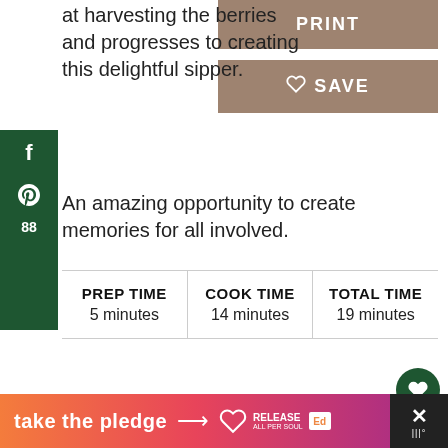at harvesting the berries and progresses to creating this delightful sipper. An amazing opportunity to create memories for all involved.
[Figure (screenshot): PRINT button - brown/tan background with white bold text]
[Figure (screenshot): SAVE button with heart icon - brown/tan background with white bold text]
[Figure (infographic): Social share sidebar with Facebook icon, Pinterest icon, and count 88 on dark green background]
| PREP TIME | COOK TIME | TOTAL TIME |
| --- | --- | --- |
| 5 minutes | 14 minutes | 19 minutes |
[Figure (screenshot): Floating dark green heart button with count 92 and share button]
[Figure (screenshot): Bottom banner: take the pledge with arrow, RELEASE logo, close button]